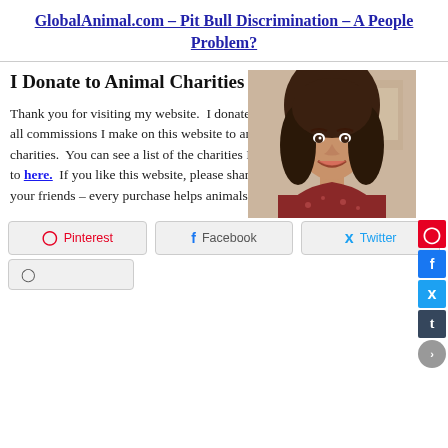GlobalAnimal.com – Pit Bull Discrimination – A People Problem?
I Donate to Animal Charities
[Figure (photo): Portrait photo of a smiling woman with dark brown curly hair, wearing a red patterned top, against an indoor background.]
Thank you for visiting my website.  I donate 10% of all commissions I make on this website to animal charities.  You can see a list of the charities I donate to here.  If you like this website, please share it with your friends – every purchase helps animals!  Debra